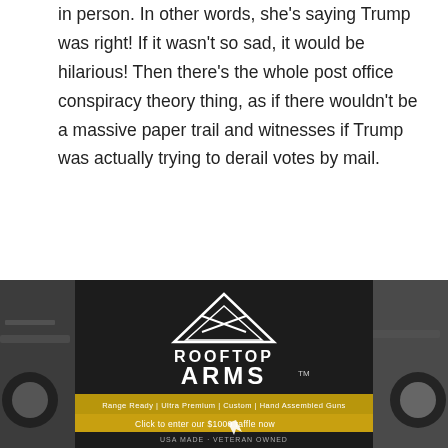in person. In other words, she's saying Trump was right! If it wasn't so sad, it would be hilarious! Then there's the whole post office conspiracy theory thing, as if there wouldn't be a massive paper trail and witnesses if Trump was actually trying to derail votes by mail.
Dude
August 27, 2020 At 07:42
*vote by mail* duh
AM
August 27, 2020 At 08:27
The cities voted for the left last time and there ... heavens it ... n.
[Figure (photo): Advertisement banner for Rooftop Arms showing firearms and vehicles with logo and tagline 'Range Ready | Ultra Premium | Custom | Hand Assembled Guns', with call to action 'Click to enter our $1000 raffle now', USA MADE - VETERAN OWNED]